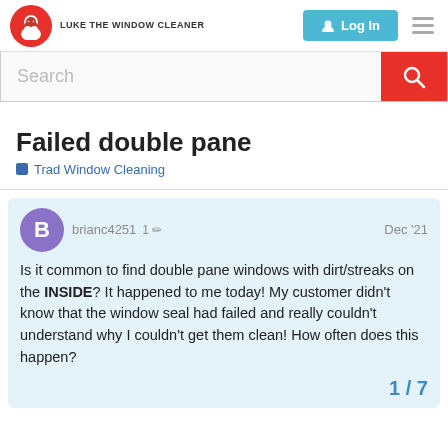LUKE THE WINDOW CLEANER — Log In
[Figure (screenshot): Search bar with red search button]
Failed double pane
Trad Window Cleaning
brianc4251   1 ✏  Dec '21
Is it common to find double pane windows with dirt/streaks on the INSIDE? It happened to me today! My customer didn't know that the window seal had failed and really couldn't understand why I couldn't get them clean! How often does this happen?
1 / 7